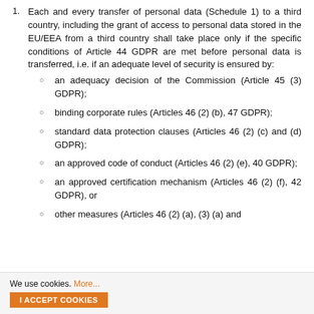Each and every transfer of personal data (Schedule 1) to a third country, including the grant of access to personal data stored in the EU/EEA from a third country shall take place only if the specific conditions of Article 44 GDPR are met before personal data is transferred, i.e. if an adequate level of security is ensured by:
an adequacy decision of the Commission (Article 45 (3) GDPR);
binding corporate rules (Articles 46 (2) (b), 47 GDPR);
standard data protection clauses (Articles 46 (2) (c) and (d) GDPR);
an approved code of conduct (Articles 46 (2) (e), 40 GDPR);
an approved certification mechanism (Articles 46 (2) (f), 42 GDPR), or
other measures (Articles 46 (2) (a), (3) (a) and
We use cookies. More...
I ACCEPT COOKIES